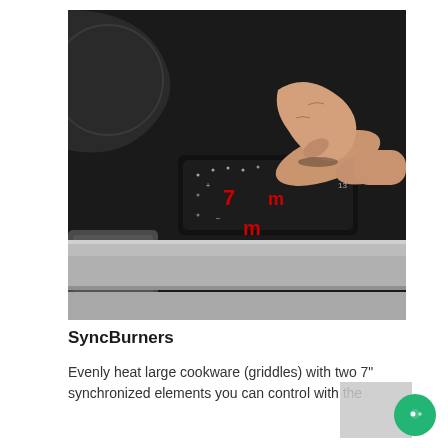[Figure (photo): Close-up photo of a hand pressing a touch control panel on a black induction cooktop, with red digital displays showing numbers and stainless steel trim visible below.]
SyncBurners
Evenly heat large cookware (griddles) with two 7" synchronized elements you can control with the